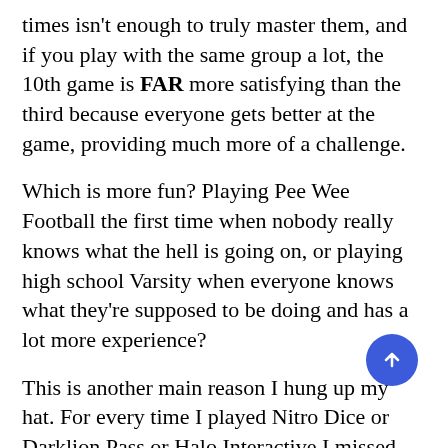times isn't enough to truly master them, and if you play with the same group a lot, the 10th game is FAR more satisfying than the third because everyone gets better at the game, providing much more of a challenge.
Which is more fun? Playing Pee Wee Football the first time when nobody really knows what the hell is going on, or playing high school Varsity when everyone knows what they're supposed to be doing and has a lot more experience?
This is another main reason I hung up my hat. For every time I played Nitro Dice or Darklion Pass or Halo Interactive I missed out on playing El Grande or Stone Age (STFU, all of you) or Catan, or any of a number of games that I would MUCH rather be playing. Further, always playing a new game means that it might be in